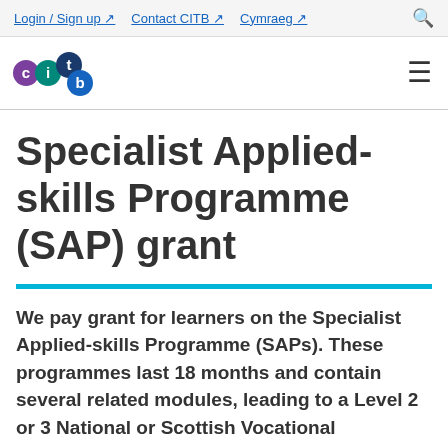Login / Sign up  Contact CITB  Cymraeg
[Figure (logo): CITB logo with coloured circles spelling 'citb']
Specialist Applied-skills Programme (SAP) grant
We pay grant for learners on the Specialist Applied-skills Programme (SAPs). These programmes last 18 months and contain several related modules, leading to a Level 2 or 3 National or Scottish Vocational